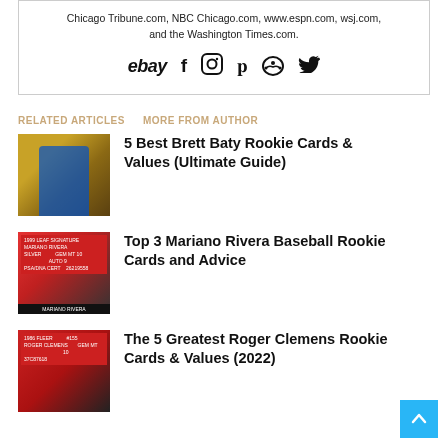Chicago Tribune.com, NBC Chicago.com, www.espn.com, wsj.com, and the Washington Times.com.
[Figure (other): Social media and platform icons: eBay, Facebook, Instagram, Pinterest, Reddit, Twitter]
RELATED ARTICLES   MORE FROM AUTHOR
[Figure (photo): Baseball player batting, Brett Baty rookie card style image with gold foil background]
5 Best Brett Baty Rookie Cards & Values (Ultimate Guide)
[Figure (photo): Mariano Rivera PSA graded baseball card - 1999 Leaf Signature Silver Gem MT 10]
Top 3 Mariano Rivera Baseball Rookie Cards and Advice
[Figure (photo): Roger Clemens PSA graded baseball rookie card - 1986 Fleer Gem MT 10]
The 5 Greatest Roger Clemens Rookie Cards & Values (2022)